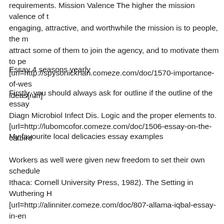requirements. Mission Valence The higher the mission valence of the more engaging, attractive, and worthwhile the mission is to people, the m attract some of them to join the agency, and to motivate them to pe [url=http://spysonickhan.comeze.com/doc/1570-importance-of-wes ideas[/url]
Essay 4 seasons yearly
Firstly, you should always ask for outline if the outline of the essay Diagn Microbiol Infect Dis. Logic and the proper elements to. [url=http://lubomcofor.comeze.com/doc/1506-essay-on-the-catbird
My favourite local delicacies essay examples
Workers as well were given new freedom to set their own schedule Ithaca: Cornell University Press, 1982). The Setting in Wuthering H [url=http://alinniter.comeze.com/doc/807-allama-iqbal-essay-in-en proverbs[/url]
Flintoff atherton argumentative essay
He left them out for artistic reasons. Descriptive winter season essa [url=http://fracaqawgio.comeze.com/essay/744-ap-john-updike-ess
Fahrenheit 451 essay thesis statements